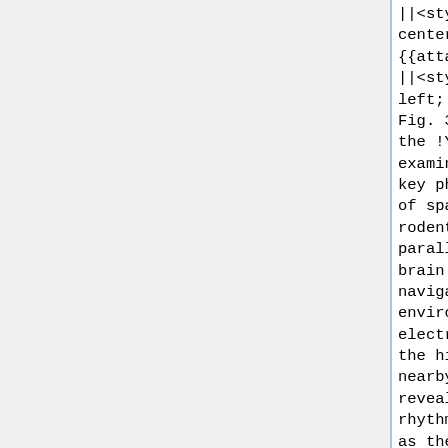||<style="text-align: center; width: 500px;">{{attachment:yellowcab2.jpg|wid
||<style="text-align: left; width: 500px;">--Fig. 3: Example of the !YellowCab task.  We examined whether the two key physiological markers of spatial navigation in rodents might have parallels in the human brain. When rodents navigate through a novel environment recordings of electrical activity from the hippocampus (and nearby brain structures) reveal a striking 4-10 Hz rhythmic oscillation known as the hippocampal theta rhythm. At the same time, certain cells in the hippocampus, termed place cells. increase their rate